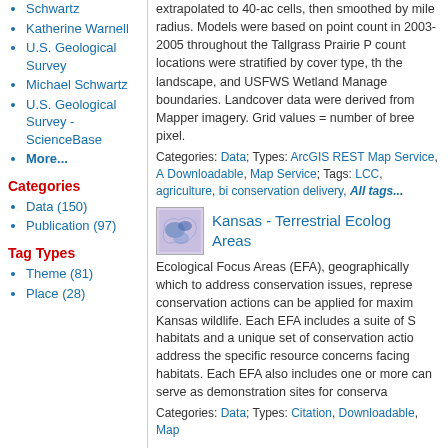Schwartz
Katherine Warnell
U.S. Geological Survey
Michael Schwartz
U.S. Geological Survey - ScienceBase
More...
Categories
Data (150)
Publication (97)
Tag Types
Theme (81)
Place (28)
extrapolated to 40-ac cells, then smoothed by mile radius. Models were based on point count in 2003-2005 throughout the Tallgrass Prairie P count locations were stratified by cover type, th the landscape, and USFWS Wetland Manage boundaries. Landcover data were derived from Mapper imagery. Grid values = number of bree pixel.
Categories: Data; Types: ArcGIS REST Map Service, A Downloadable, Map Service; Tags: LCC, agriculture, bi conservation delivery, All tags...
Kansas - Terrestrial Ecolog Areas
Ecological Focus Areas (EFA), geographically which to address conservation issues, represe conservation actions can be applied for maxim Kansas wildlife. Each EFA includes a suite of S habitats and a unique set of conservation actio address the specific resource concerns facing habitats. Each EFA also includes one or more can serve as demonstration sites for conserva
Categories: Data; Types: Citation, Downloadable, Map